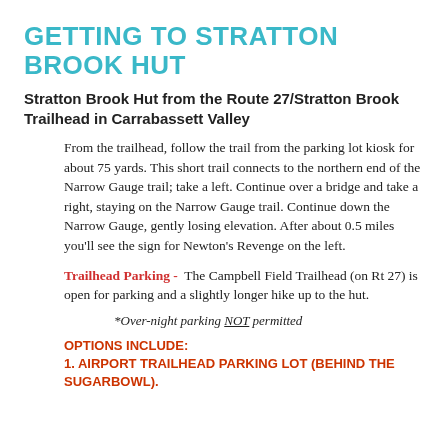GETTING TO STRATTON BROOK HUT
Stratton Brook Hut from the Route 27/Stratton Brook Trailhead in Carrabassett Valley
From the trailhead, follow the trail from the parking lot kiosk for about 75 yards. This short trail connects to the northern end of the Narrow Gauge trail; take a left. Continue over a bridge and take a right, staying on the Narrow Gauge trail. Continue down the Narrow Gauge, gently losing elevation. After about 0.5 miles you'll see the sign for Newton's Revenge on the left.
Trailhead Parking - The Campbell Field Trailhead (on Rt 27) is open for parking and a slightly longer hike up to the hut.
*Over-night parking NOT permitted
OPTIONS INCLUDE:
1. AIRPORT TRAILHEAD PARKING LOT (BEHIND THE SUGARBOWL).